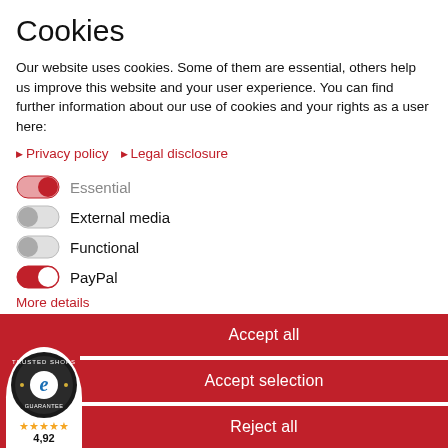Cookies
Our website uses cookies. Some of them are essential, others help us improve this website and your user experience. You can find further information about our use of cookies and your rights as a user here:
▶ Privacy policy  ▶ Legal disclosure
Essential (toggle on, red)
External media (toggle off, gray)
Functional (toggle off, gray)
PayPal (toggle on, red)
More details
[Figure (other): Trusted Shops Guarantee badge with 4,92 rating and 5 stars]
Accept all
Accept selection
Reject all